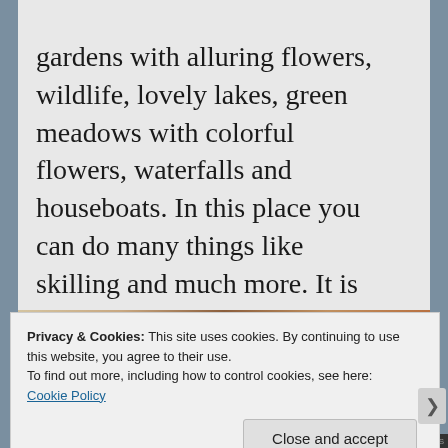gardens with alluring flowers, wildlife, lovely lakes, green meadows with colorful flowers, waterfalls and houseboats. In this place you can do many things like skilling and much more. It is most captivating places of the world and offering a floating accommodation with the picturesque scenic beauty.
[Figure (photo): Partial view of a photo showing warm brown tones, appears to be an outdoor scene]
Privacy & Cookies: This site uses cookies. By continuing to use this website, you agree to their use.
To find out more, including how to control cookies, see here:
Cookie Policy
Close and accept